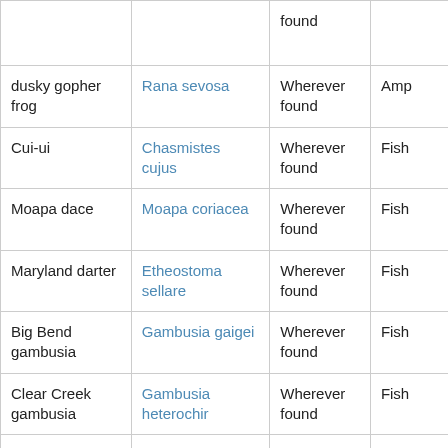| Common name | Scientific name | Where listed | Taxonomic group |
| --- | --- | --- | --- |
|  |  | found |  |
| dusky gopher frog | Rana sevosa | Wherever found | Amp… |
| Cui-ui | Chasmistes cujus | Wherever found | Fish… |
| Moapa dace | Moapa coriacea | Wherever found | Fish… |
| Maryland darter | Etheostoma sellare | Wherever found | Fish… |
| Big Bend gambusia | Gambusia gaigei | Wherever found | Fish… |
| Clear Creek gambusia | Gambusia heterochir | Wherever found | Fish… |
| Colorado pikeminnow (squawfish) | Ptychocheilus lucius | Wherever found, except where listed | Fish… |